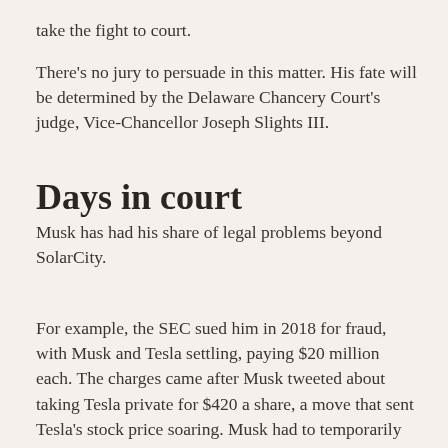take the fight to court.
There's no jury to persuade in this matter. His fate will be determined by the Delaware Chancery Court's judge, Vice-Chancellor Joseph Slights III.
Days in court
Musk has had his share of legal problems beyond SolarCity.
For example, the SEC sued him in 2018 for fraud, with Musk and Tesla settling, paying $20 million each. The charges came after Musk tweeted about taking Tesla private for $420 a share, a move that sent Tesla's stock price soaring. Musk had to temporarily relinquish his chairman role at Tesla as one of the terms of the settlement.